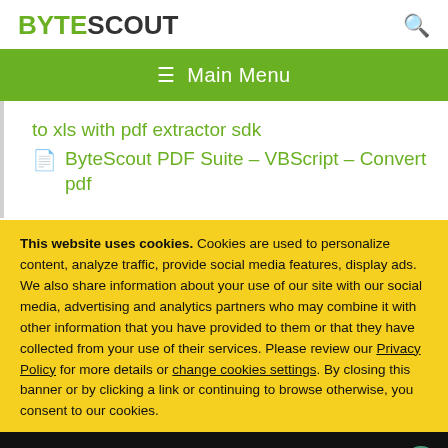BYTESCOUT
≡  Main Menu
to xls with pdf extractor sdk
🖹 ByteScout PDF Suite – VBScript – Convert pdf
This website uses cookies. Cookies are used to personalize content, analyze traffic, provide social media features, display ads. We also share information about your use of our site with our social media, advertising and analytics partners who may combine it with other information that you have provided to them or that they have collected from your use of their services. Please review our Privacy Policy for more details or change cookies settings. By closing this banner or by clicking a link or continuing to browse otherwise, you consent to our cookies.
OK